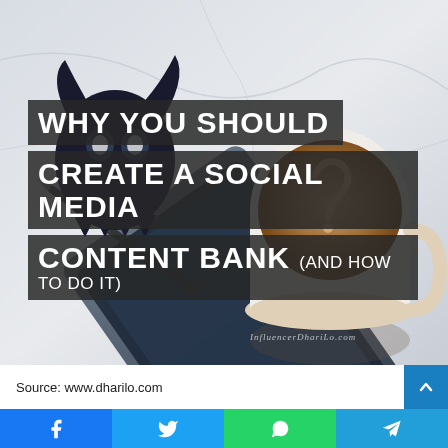[Figure (photo): Overhead photo of a tablet, coffee cup with latte art, and a pen on a marble surface, used as a hero image background for a blog post about social media content banks. Dark monster/mascot logo in top-left. Text overlay reads: WHY YOU SHOULD CREATE A SOCIAL MEDIA CONTENT BANK (AND HOW TO DO IT). Watermark: InfluencerDhariLo.com]
Source: www.dharilo.com
[Figure (infographic): Social sharing bar with four buttons: Facebook (blue), Twitter (light blue), WhatsApp (green), Telegram (blue)]